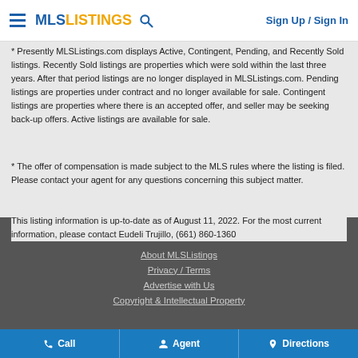MLS LISTINGS  Sign Up / Sign In
* Presently MLSListings.com displays Active, Contingent, Pending, and Recently Sold listings. Recently Sold listings are properties which were sold within the last three years. After that period listings are no longer displayed in MLSListings.com. Pending listings are properties under contract and no longer available for sale. Contingent listings are properties where there is an accepted offer, and seller may be seeking back-up offers. Active listings are available for sale.
* The offer of compensation is made subject to the MLS rules where the listing is filed. Please contact your agent for any questions concerning this subject matter.
This listing information is up-to-date as of August 11, 2022. For the most current information, please contact Eudeli Trujillo, (661) 860-1360
About MLSListings  Privacy / Terms  Advertise with Us  Copyright & Intellectual Property
Call  Agent  Directions